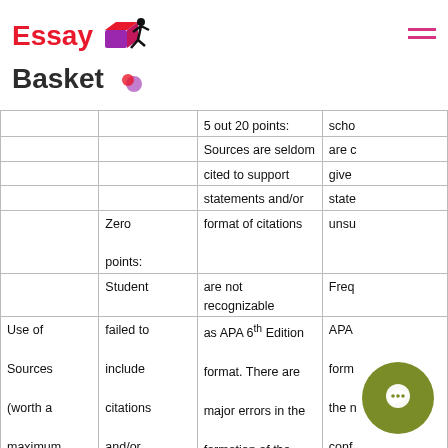Essay Basket [logo]
| Column1 | Column2 | Column3 | Column4 |
| --- | --- | --- | --- |
|  |  | 5 out 20 points: | scho |
|  |  | Sources are seldom | are c |
|  |  | cited to support | give |
|  |  | statements and/or | state |
|  | Zero points: | format of citations | unsu |
|  | points: | are not recognizable | Freq |
|  | Student | as APA 6th Edition | APA |
| Use of Sources (worth a maximum of 20% of the total | failed to include citations and/or references. Or the | format. There are major errors in the formation of the references and citations. And/or there is a major | form the m conf the s infor Ther |